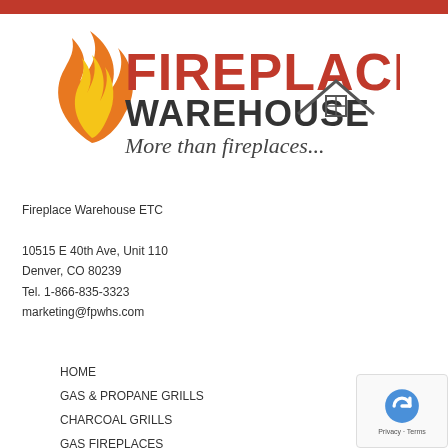[Figure (logo): Fireplace Warehouse logo with flame icon and house rooftop graphic. Text reads: FIREPLACE WAREHOUSE More than fireplaces...]
Fireplace Warehouse ETC
10515 E 40th Ave, Unit 110
Denver, CO 80239
Tel. 1-866-835-3323
marketing@fpwhs.com
HOME
GAS & PROPANE GRILLS
CHARCOAL GRILLS
GAS FIREPLACES